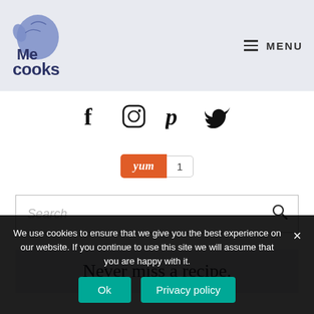Me Cooks logo | MENU
[Figure (logo): Me Cooks logo with a blue cartoon mitten/hand and the text 'Me cooks' in dark blue handwritten font]
MENU
[Figure (infographic): Social media icons row: Facebook, Instagram, Pinterest, Twitter]
[Figure (infographic): Yum button (orange) with count badge showing 1]
Search
Never miss a recipe.
We use cookies to ensure that we give you the best experience on our website. If you continue to use this site we will assume that you are happy with it.
Ok
Privacy policy